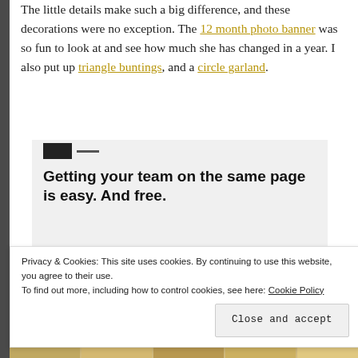The little details make such a big difference, and these decorations were no exception. The 12 month photo banner was so fun to look at and see how much she has changed in a year. I also put up triangle buntings, and a circle garland.
[Figure (screenshot): Advertisement screenshot showing 'Getting your team on the same page is easy. And free.' with circular profile photos of three people and a blue plus button]
Privacy & Cookies: This site uses cookies. By continuing to use this website, you agree to their use. To find out more, including how to control cookies, see here: Cookie Policy Close and accept